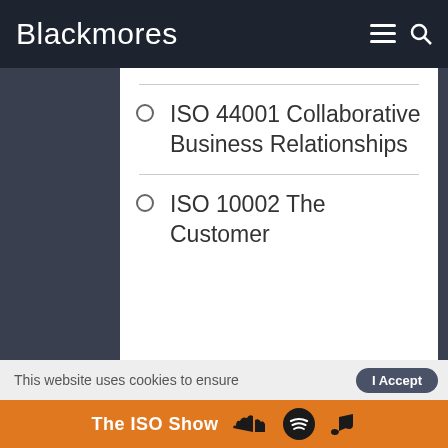Blackmores
ISO 44001 Collaborative Business Relationships
ISO 10002 The Customer
This website uses cookies to ensure
The ISO Show